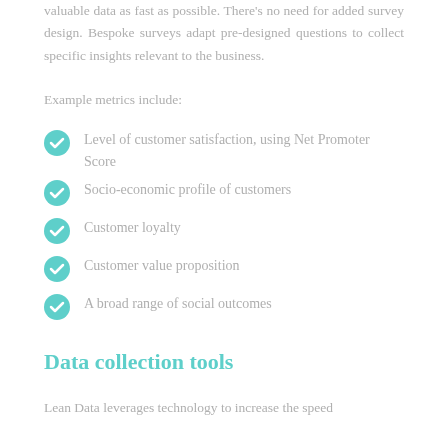valuable data as fast as possible. There's no need for added survey design. Bespoke surveys adapt pre-designed questions to collect specific insights relevant to the business.
Example metrics include:
Level of customer satisfaction, using Net Promoter Score
Socio-economic profile of customers
Customer loyalty
Customer value proposition
A broad range of social outcomes
Data collection tools
Lean Data leverages technology to increase the speed